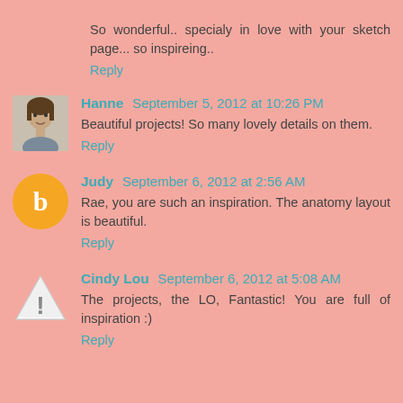So wonderful.. specialy in love with your sketch page... so inspireing..
Reply
Hanne  September 5, 2012 at 10:26 PM
Beautiful projects! So many lovely details on them.
Reply
Judy  September 6, 2012 at 2:56 AM
Rae, you are such an inspiration. The anatomy layout is beautiful.
Reply
Cindy Lou  September 6, 2012 at 5:08 AM
The projects, the LO, Fantastic! You are full of inspiration :)
Reply